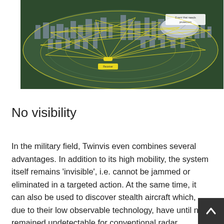[Figure (infographic): Military surveillance/radar network diagram showing a dark green aerial view of an urban area with buildings, overlaid with yellow network lines forming a mesh pattern. A helicopter labeled 'Receiver' is shown in the center-lower area, and a large domed stadium labeled 'Event that needs protection' is visible in the upper right. Yellow elliptical coverage zones and crisscrossing lines indicate signal paths.]
No visibility
In the military field, Twinvis even combines several advantages. In addition to its high mobility, the system itself remains 'invisible', i.e. cannot be jammed or eliminated in a targeted action. At the same time, it can also be used to discover stealth aircraft which, due to their low observable technology, have until now remained undetectable for conventional radar systems.